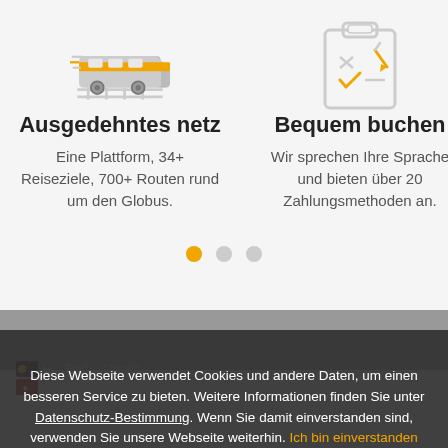[Figure (illustration): Icon of a high-speed train with orange and grey colors]
Ausgedehntes netz
Eine Plattform, 34+ Reiseziele, 700+ Routen rund um den Globus.
[Figure (illustration): Icon of a checklist clipboard with orange and grey colors]
Bequem buchen
Wir sprechen Ihre Sprache und bieten über 20 Zahlungsmethoden an.
Sehen ...
Wir biete... und ehrlic...
Diese Webseite verwendet Cookies und andere Daten, um einen besseren Service zu bieten. Weitere Informationen finden Sie unter Datenschutz-Bestimmung. Wenn Sie damit einverstanden sind, verwenden Sie unsere Webseite weiterhin. Ich bin einverstanden